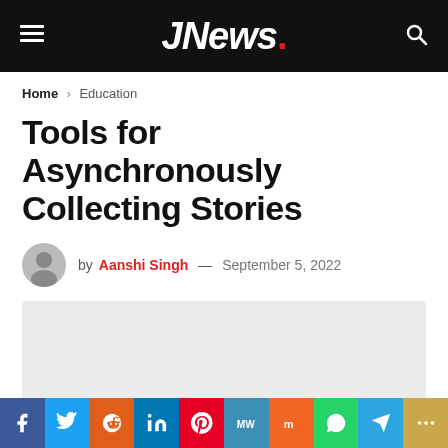JNews.
Home > Education
Tools for Asynchronously Collecting Stories
by Aanshi Singh — September 5, 2022
[Figure (photo): Gray placeholder image area for article featured image]
Social sharing bar: Facebook, Twitter, Reddit, LinkedIn, Pinterest, MeWe, Mix, WhatsApp, Telegram, More